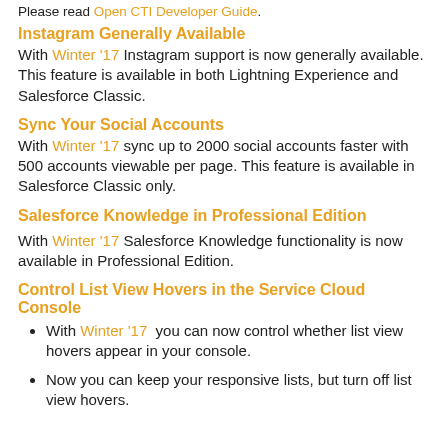Please read Open CTI Developer Guide.
Instagram Generally Available
With Winter '17 Instagram support is now generally available. This feature is available in both Lightning Experience and Salesforce Classic.
Sync Your Social Accounts
With Winter '17 sync up to 2000 social accounts faster with 500 accounts viewable per page. This feature is available in Salesforce Classic only.
Salesforce Knowledge in Professional Edition
With Winter '17 Salesforce Knowledge functionality is now available in Professional Edition.
Control List View Hovers in the Service Cloud Console
With Winter '17 you can now control whether list view hovers appear in your console.
Now you can keep your responsive lists, but turn off list view hovers.